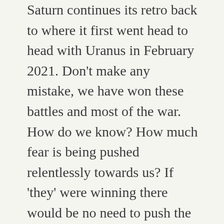Saturn continues its retro back to where it first went head to head with Uranus in February 2021. Don't make any mistake, we have won these battles and most of the war. How do we know? How much fear is being pushed relentlessly towards us? If 'they' were winning there would be no need to push the fear narrative so hard. Think about it.
As we enter the final third of the year try to avoid looking for the end of this journey. I know so many of you say that you want to go home well you are home, this is it. We are here to create heaven on earth, think about what that means and start creating your version of heaven wherever you are. The difference between misery and miracles is one intention for transformation.
Get ready for another busy, eventful, at times painful,